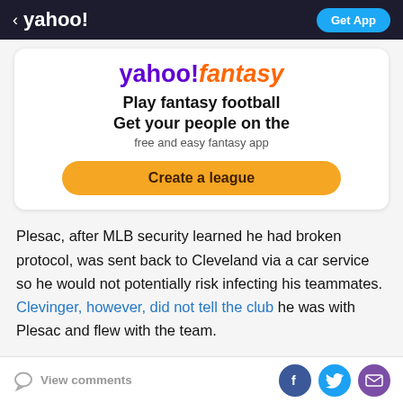< yahoo! | Get App
[Figure (other): Yahoo Fantasy advertisement card with logo, text 'Play fantasy football Get your people on the free and easy fantasy app', and a 'Create a league' button]
Plesac, after MLB security learned he had broken protocol, was sent back to Cleveland via a car service so he would not potentially risk infecting his teammates. Clevinger, however, did not tell the club he was with Plesac and flew with the team.
View comments | Facebook | Twitter | Email